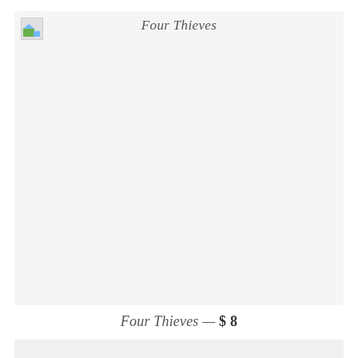[Figure (photo): Broken image placeholder icon in top left of a light gray card area]
Four Thieves
Four Thieves — $ 8